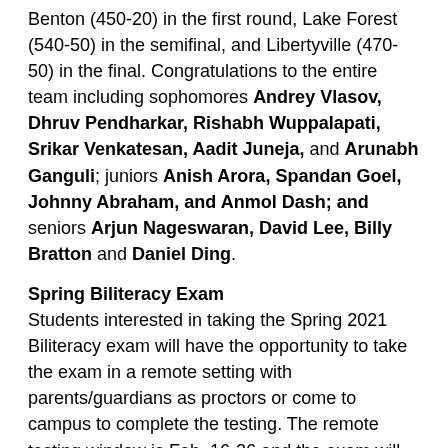Benton (450-20) in the first round, Lake Forest (540-50) in the semifinal, and Libertyville (470-50) in the final. Congratulations to the entire team including sophomores Andrey Vlasov, Dhruv Pendharkar, Rishabh Wuppalapati, Srikar Venkatesan, Aadit Juneja, and Arunabh Ganguli; juniors Anish Arora, Spandan Goel, Johnny Abraham, and Anmol Dash; and seniors Arjun Nageswaran, David Lee, Billy Bratton and Daniel Ding.
Spring Biliteracy Exam
Students interested in taking the Spring 2021 Biliteracy exam will have the opportunity to take the exam in a remote setting with parents/guardians as proctors or come to campus to complete the testing. The remote testing window is Feb. 16-26 and the exam will also be given on campus on Feb. 20 and Feb. 27.